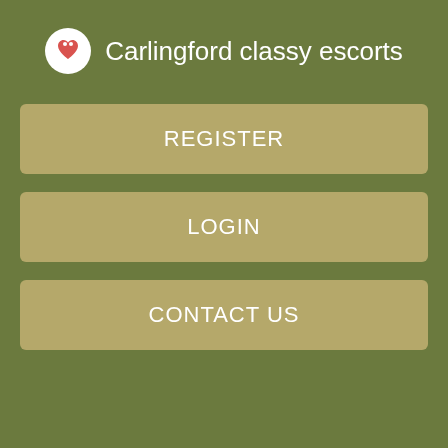Carlingford classy escorts
REGISTER
LOGIN
CONTACT US
un Open-air massage, Thai-style: Foreign tourists get a foot massage in Bangkok, Thailand side by side in the open air - no privacy here! Getty Images AsiaPac.
Massage Parlours & Escorts In Bendigo
Some dodgy shops have back doors for clients to access without being noticed, offering very private massage rooms. Illuminated rear entrance to an actual brothel in Sydney. Getty Images. The shops advertise about their staff using describing